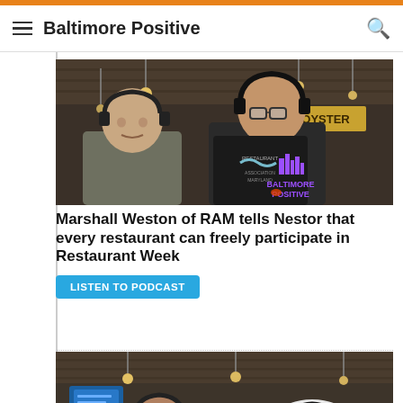Baltimore Positive
[Figure (photo): Two men wearing headphones in a restaurant/bar setting. The man on the right is holding up a black Baltimore Positive t-shirt with a skyline logo. There is a sign reading OYSTER in the background.]
Marshall Weston of RAM tells Nestor that every restaurant can freely participate in Restaurant Week
LISTEN TO PODCAST
[Figure (photo): Two men wearing headphones, partially visible, in a restaurant/bar setting with hanging lights.]